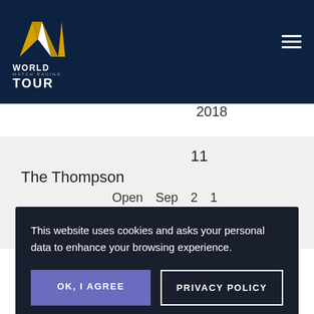[Figure (logo): World Match Racing Tour logo with stylized sailing chevron icon in gold and white, on dark navy background]
2018
11
The Thompson
Open   Sep   2   1
This website uses cookies and asks your personal data to enhance your browsing experience.
OK, I AGREE
PRIVACY POLICY
EUROSAF